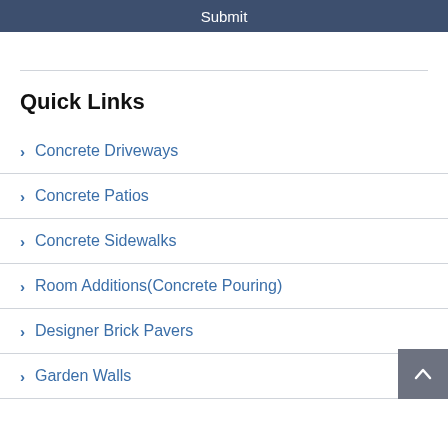Submit
Quick Links
Concrete Driveways
Concrete Patios
Concrete Sidewalks
Room Additions(Concrete Pouring)
Designer Brick Pavers
Garden Walls